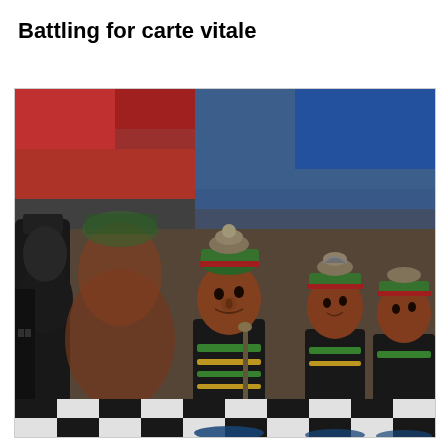Battling for carte vitale
[Figure (photo): Colorful decorative chess pieces shaped as indigenous/Andean figurines with ornate headdresses, arranged on a black and white checkered board. The pieces have detailed painted faces in terracotta tones with green, red, yellow accents. A blurred red and blue background is visible. The photo has a shallow depth of field with foreground pieces blurred.]